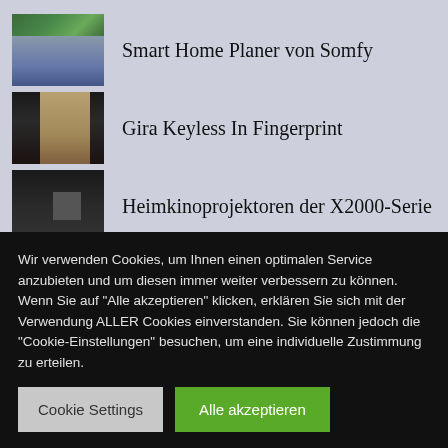Smart Home Planer von Somfy
Gira Keyless In Fingerprint
Heimkinoprojektoren der X2000-Serie
Wir verwenden Cookies, um Ihnen einen optimalen Service anzubieten und um diesen immer weiter verbessern zu können. Wenn Sie auf "Alle akzeptieren" klicken, erklären Sie sich mit der Verwendung ALLER Cookies einverstanden. Sie können jedoch die "Cookie-Einstellungen" besuchen, um eine individuelle Zustimmung zu erteilen.
Cookie Settings
Alle akzeptieren